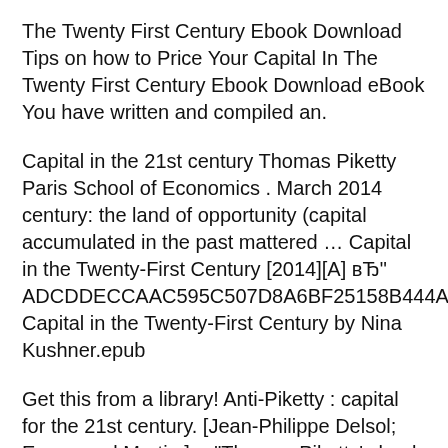The Twenty First Century Ebook Download Tips on how to Price Your Capital In The Twenty First Century Ebook Download eBook You have written and compiled an.
Capital in the 21st century Thomas Piketty Paris School of Economics . March 2014 century: the land of opportunity (capital accumulated in the past mattered … Capital in the Twenty-First Century [2014][A] вЂ" ADCDDECCAAC595C507D8A6BF25158B444A226BE Capital in the Twenty-First Century by Nina Kushner.epub
Get this from a library! Anti-Piketty : capital for the 21st century. [Jean-Philippe Delsol; Emmanuel Martin;] -- "Thomas Piketty's book